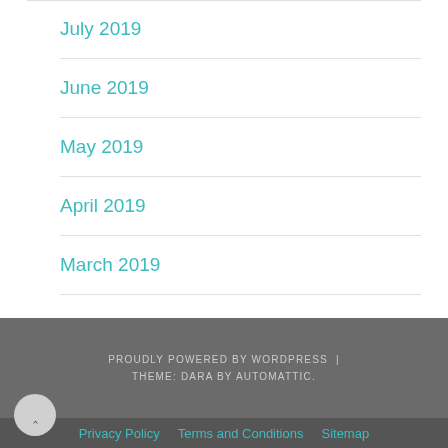July 2019
June 2019
May 2019
April 2019
March 2019
PROUDLY POWERED BY WORDPRESS | THEME: DARA BY AUTOMATTIC.
Privacy Policy   Terms and Conditions   Sitemap